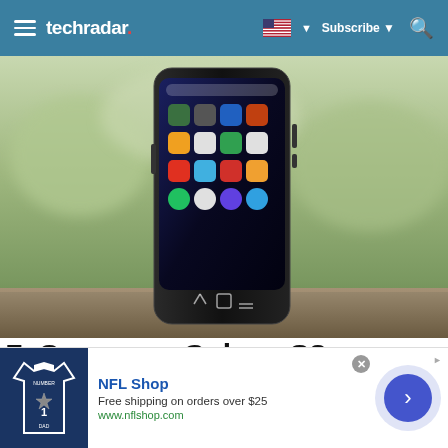techradar — Subscribe
[Figure (photo): Samsung Galaxy S8 smartphone standing upright on a wooden surface outdoors, showing the home screen with app icons, against a blurred green background]
7. Samsung Galaxy S8
[Figure (other): Advertisement banner for NFL Shop: 'Free shipping on orders over $25' with www.nflshop.com URL, showing a Cowboys jersey image and a right-arrow navigation button]